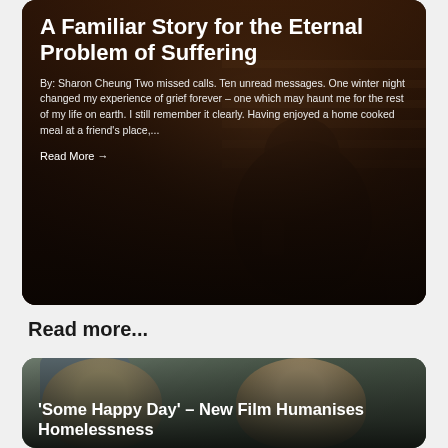[Figure (photo): Dark moody photo of a person holding a phone, with warm brown tones in background, used as hero card background]
A Familiar Story for the Eternal Problem of Suffering
By: Sharon Cheung Two missed calls. Ten unread messages. One winter night changed my experience of grief forever – one which may haunt me for the rest of my life on earth. I still remember it clearly. Having enjoyed a home cooked meal at a friend's place,...
Read More →
Read more...
[Figure (photo): Two people facing camera outdoors, one wearing a blue knit hat, used as card background for second article]
'Some Happy Day' – New Film Humanises Homelessness